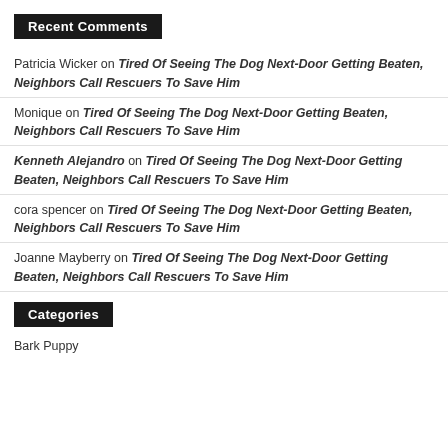Recent Comments
Patricia Wicker on Tired Of Seeing The Dog Next-Door Getting Beaten, Neighbors Call Rescuers To Save Him
Monique on Tired Of Seeing The Dog Next-Door Getting Beaten, Neighbors Call Rescuers To Save Him
Kenneth Alejandro on Tired Of Seeing The Dog Next-Door Getting Beaten, Neighbors Call Rescuers To Save Him
cora spencer on Tired Of Seeing The Dog Next-Door Getting Beaten, Neighbors Call Rescuers To Save Him
Joanne Mayberry on Tired Of Seeing The Dog Next-Door Getting Beaten, Neighbors Call Rescuers To Save Him
Categories
Bark Puppy